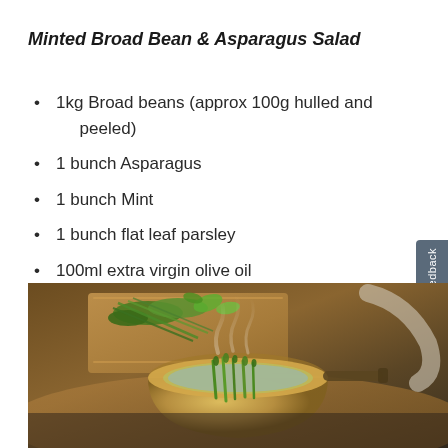Minted Broad Bean & Asparagus Salad
1kg Broad beans (approx 100g hulled and peeled)
1 bunch Asparagus
1 bunch Mint
1 bunch flat leaf parsley
100ml extra virgin olive oil
[Figure (photo): A cooking pot/pan with green asparagus and vegetables being cooked, steam rising, with a wooden cutting board and vegetables in the background]